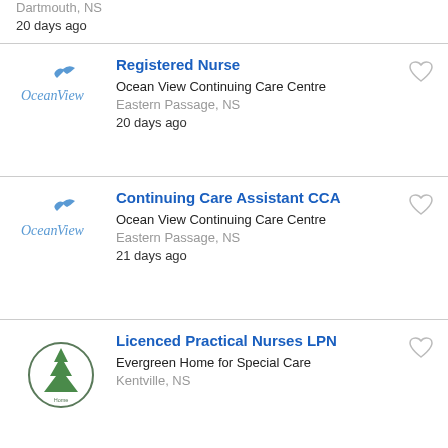Dartmouth, NS
20 days ago
Registered Nurse - Ocean View Continuing Care Centre - Eastern Passage, NS - 20 days ago
Continuing Care Assistant CCA - Ocean View Continuing Care Centre - Eastern Passage, NS - 21 days ago
Licenced Practical Nurses LPN - Evergreen Home for Special Care - Kentville, NS